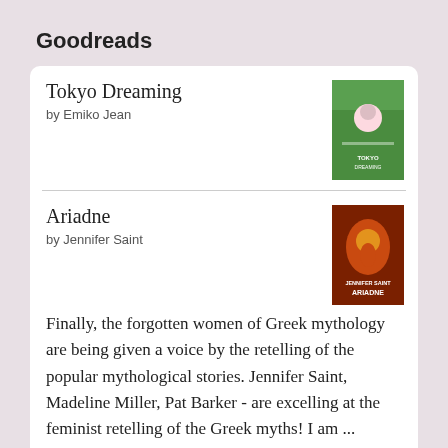Goodreads
Tokyo Dreaming
by Emiko Jean
Ariadne
by Jennifer Saint
Finally, the forgotten women of Greek mythology are being given a voice by the retelling of the popular mythological stories. Jennifer Saint, Madeline Miller, Pat Barker - are excelling at the feminist retelling of the Greek myths! I am ...
Sparring Partners
by John Grisham